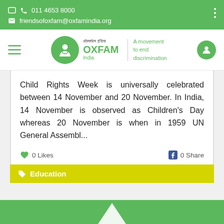011 4653 8000  friendsofoxfam@oxfamindia.org
[Figure (logo): Oxfam India logo with tagline 'A movement to end discrimination']
Child Rights Week is universally celebrated between 14 November and 20 November. In India, 14 November is observed as Children's Day whereas 20 November is when in 1959 UN General Assembl...
0 Likes  0 Share
Education